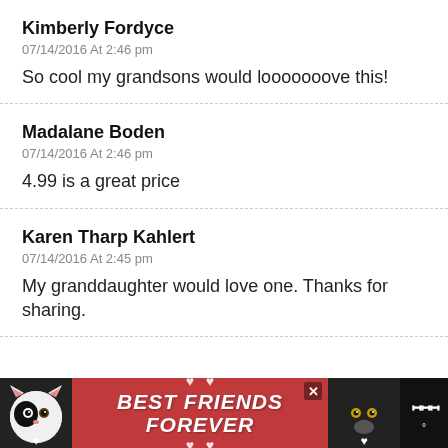Kimberly Fordyce
07/14/2016 At 2:46 pm
So cool my grandsons would looooooove this!
Madalane Boden
07/14/2016 At 2:46 pm
4.99 is a great price
Karen Tharp Kahlert
07/14/2016 At 2:45 pm
My granddaughter would love one. Thanks for sharing.
[Figure (photo): Advertisement banner at the bottom showing two cats and text 'BEST FRIENDS FOREVER' on a red/pink background with a close button and Tidal streaming service icon]